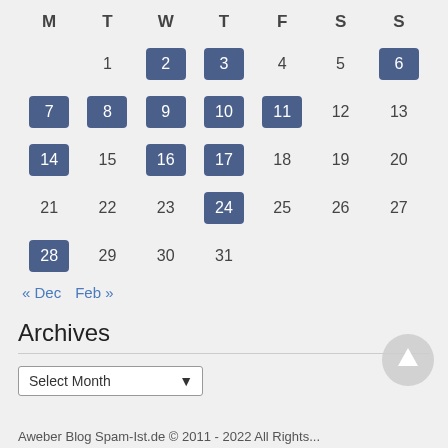| M | T | W | T | F | S | S |
| --- | --- | --- | --- | --- | --- | --- |
|  | 1 | 2 | 3 | 4 | 5 | 6 |
| 7 | 8 | 9 | 10 | 11 | 12 | 13 |
| 14 | 15 | 16 | 17 | 18 | 19 | 20 |
| 21 | 22 | 23 | 24 | 25 | 26 | 27 |
| 28 | 29 | 30 | 31 |  |  |  |
« Dec  Feb »
Archives
Select Month